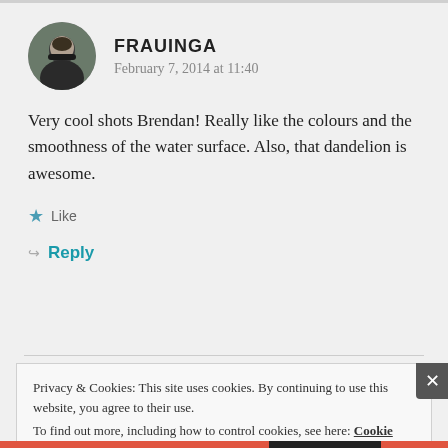[Figure (photo): Circular avatar photo of a person wearing a dark jacket, facing slightly to the side, outdoors background]
FRAUINGA
February 7, 2014 at 11:40
Very cool shots Brendan! Really like the colours and the smoothness of the water surface. Also, that dandelion is awesome.
★ Like
↪ Reply
Privacy & Cookies: This site uses cookies. By continuing to use this website, you agree to their use.
To find out more, including how to control cookies, see here: Cookie Policy
Close and accept